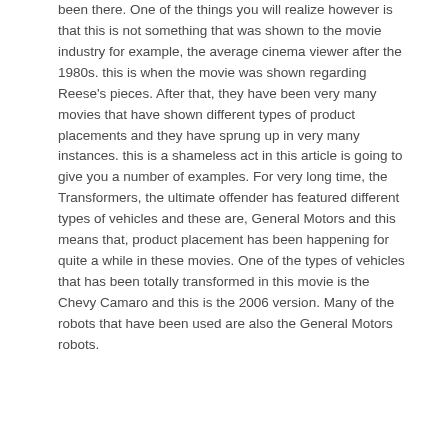been there. One of the things you will realize however is that this is not something that was shown to the movie industry for example, the average cinema viewer after the 1980s. this is when the movie was shown regarding Reese's pieces. After that, they have been very many movies that have shown different types of product placements and they have sprung up in very many instances. this is a shameless act in this article is going to give you a number of examples. For very long time, the Transformers, the ultimate offender has featured different types of vehicles and these are, General Motors and this means that, product placement has been happening for quite a while in these movies. One of the types of vehicles that has been totally transformed in this movie is the Chevy Camaro and this is the 2006 version. Many of the robots that have been used are also the General Motors robots.